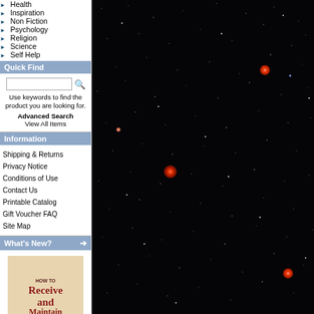Health
Inspiration
Non Fiction
Psychology
Religion
Science
Self Help
Quick Find
Use keywords to find the product you are looking for.
Advanced Search
View All Items
Information
Shipping & Returns
Privacy Notice
Conditions of Use
Contact Us
Printable Catalog
Gift Voucher FAQ
Site Map
What's New?
[Figure (photo): Book cover: How to Receive and Maintain a Healing]
[Figure (photo): Space/night sky background with stars and red giant stars visible]